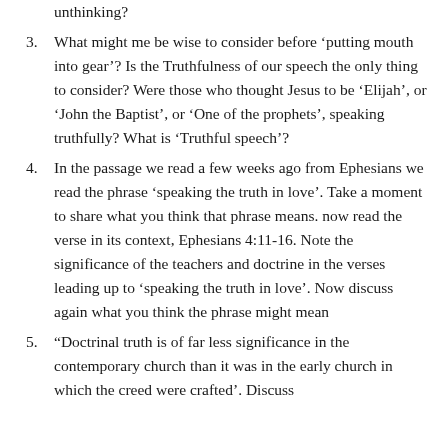(continuation) unthinking?
3. What might me be wise to consider before ‘putting mouth into gear’? Is the Truthfulness of our speech the only thing to consider? Were those who thought Jesus to be ‘Elijah’, or ‘John the Baptist’, or ‘One of the prophets’, speaking truthfully? What is ‘Truthful speech’?
4. In the passage we read a few weeks ago from Ephesians we read the phrase ‘speaking the truth in love’. Take a moment to share what you think that phrase means. now read the verse in its context, Ephesians 4:11-16. Note the significance of the teachers and doctrine in the verses leading up to ‘speaking the truth in love’. Now discuss again what you think the phrase might mean
5. “Doctrinal truth is of far less significance in the contemporary church than it was in the early church in which the creed were crafted’. Discuss